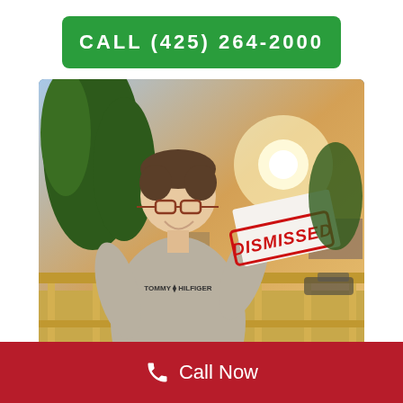CALL (425) 264-2000
[Figure (photo): A young man standing on a wooden deck/balcony outdoors at sunset, wearing a grey Tommy Hilfiger sweatshirt and olive/yellow pants with glasses, smiling while holding a piece of paper with a red 'DISMISSED' stamp overlay. Green trees and a bright sun visible in background.]
Call Now